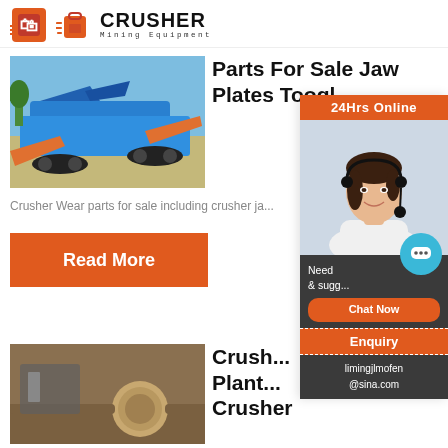[Figure (logo): Crusher Mining Equipment logo with red shopping bag icon and bold black CRUSHER text, subtitle Mining Equipment]
[Figure (photo): Blue mobile crushing/screening plant parked on a gravel area outdoors under blue sky]
Parts For Sale Jaw Plates Toogle
Crusher Wear parts for sale including crusher ja...
Read More
[Figure (photo): Close-up of a heavy roller or drum component of a crusher plant]
Crush... Plant... Crusher
[Figure (infographic): Sidebar overlay: 24Hrs Online banner, photo of woman with headset, Need & suggestions chat area with Chat Now button, Enquiry section, limingjlmofen@sina.com email]